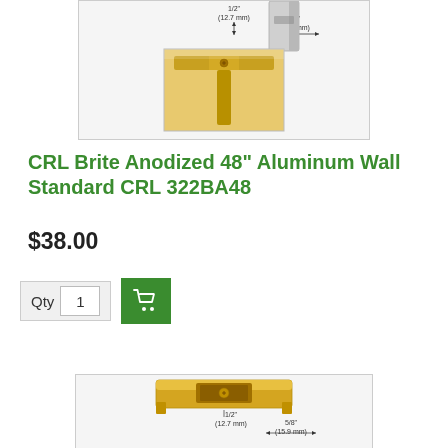[Figure (photo): Top portion of product image showing CRL aluminum wall standard with dimension annotations (1/2" / 12.7mm and 5/8" / 15.9mm) and a photo inset of gold/brass colored hardware component]
CRL Brite Anodized 48" Aluminum Wall Standard CRL 322BA48
$38.00
[Figure (other): Qty input field showing value 1 and green Add to Cart button with shopping cart icon]
[Figure (photo): Bottom product image showing gold/brass colored CRL aluminum wall standard with dimension annotations (1/2" / 12.7mm and 5/8" / 15.9mm)]